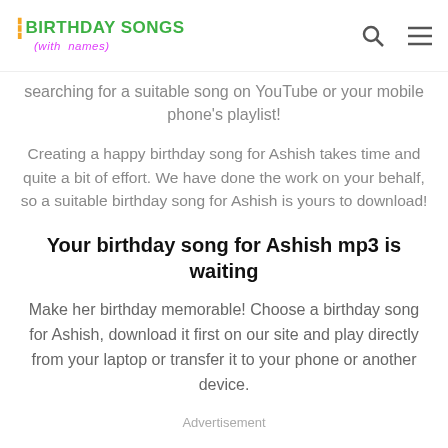BIRTHDAY SONGS (with names)
searching for a suitable song on YouTube or your mobile phone's playlist!
Creating a happy birthday song for Ashish takes time and quite a bit of effort. We have done the work on your behalf, so a suitable birthday song for Ashish is yours to download!
Your birthday song for Ashish mp3 is waiting
Make her birthday memorable! Choose a birthday song for Ashish, download it first on our site and play directly from your laptop or transfer it to your phone or another device.
Advertisement